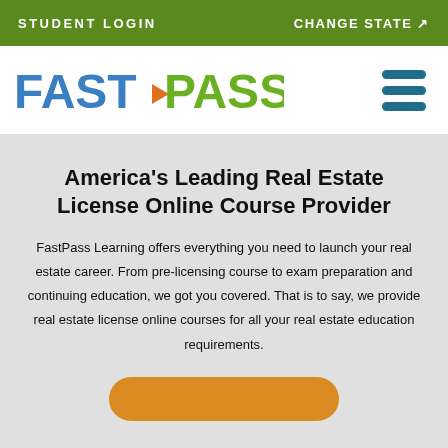STUDENT LOGIN   CHANGE STATE ⊠
[Figure (logo): FastPass Learning logo with blue FAST and green PASS text, arrow icon, and LEARNING subtitle]
America's Leading Real Estate License Online Course Provider
FastPass Learning offers everything you need to launch your real estate career. From pre-licensing course to exam preparation and continuing education, we got you covered. That is to say, we provide real estate license online courses for all your real estate education requirements.